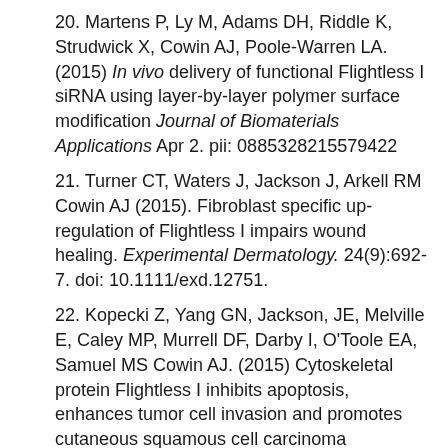20. Martens P, Ly M, Adams DH, Riddle K, Strudwick X, Cowin AJ, Poole-Warren LA. (2015) In vivo delivery of functional Flightless I siRNA using layer-by-layer polymer surface modification Journal of Biomaterials Applications Apr 2. pii: 0885328215579422
21. Turner CT, Waters J, Jackson J, Arkell RM Cowin AJ (2015). Fibroblast specific up-regulation of Flightless I impairs wound healing. Experimental Dermatology. 24(9):692-7. doi: 10.1111/exd.12751.
22. Kopecki Z, Yang GN, Jackson, JE, Melville E, Caley MP, Murrell DF, Darby I, O'Toole EA, Samuel MS Cowin AJ. (2015) Cytoskeletal protein Flightless I inhibits apoptosis, enhances tumor cell invasion and promotes cutaneous squamous cell carcinoma progression Oncotarget Nov